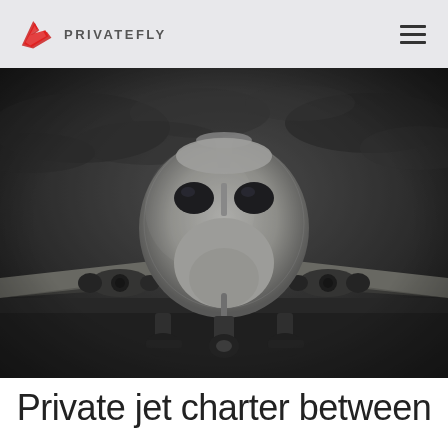PRIVATEFLY
[Figure (photo): Front-on view of a private jet aircraft on a runway, black and white/dark tone photo with dramatic cloudy sky in background]
Private jet charter between